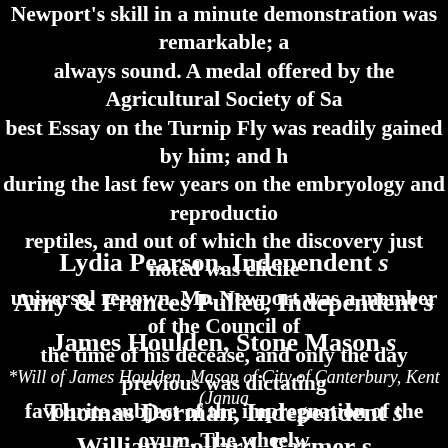Newport's skill in a minute demonstration was remarkable; always sound. A medal offered by the Agricultural Society of Sa... best Essay on the Turnip Fly was readily gained by him; and h... during the last few years on the embryology and reproductio... reptiles, and out of which the discovery just noted was elicite... universal renown. Mr. Newport was a member of the Council of the time of his decease, and only the day previous was dictating favourite subject of the impregnation of the ovum. The wheelw... lived to receive the highest honours for researches in natural kn... country has to bestow; and it remains to mourn that a natur... philosophic powers should have been cut off in the zenith and v... career. Literary Gazette "A subscription (limited to one guinea) among the Fellows of the Royal and Linnaean Societies for a t... grave")
Lydia Pearson, Independent s
Amy & Frances Pullee, Independent s
James Houlden, Stone Mason s
*Will of James Houlden, Mason of City of Canterbury, Kent (Janua...
Thomas Dorman, Independent s
William Collard, Farmer s